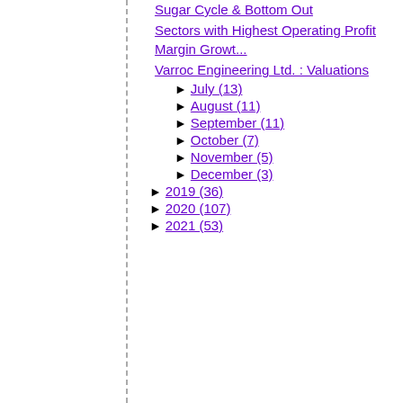Sugar Cycle & Bottom Out
Sectors with Highest Operating Profit Margin Growt...
Varroc Engineering Ltd. : Valuations
► July (13)
► August (11)
► September (11)
► October (7)
► November (5)
► December (3)
► 2019 (36)
► 2020 (107)
► 2021 (53)
Live Traffic Feed
A visitor from United states viewed 'Nifty Next: 06/01/2018 - 07/01/2018' 4 secs ago
A visitor from Los angeles, California viewed 'Nifty Next: Nifty Next: Nifty Future Trading Range' 8 mins ago
A visitor from Ashburn, Virginia viewed 'Nifty Next: Indian Oil Corporation Ltd - Valuation' 23 mins ago